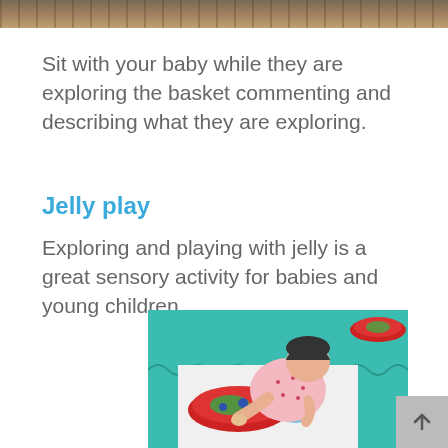[Figure (photo): Top portion of a photo showing a basket, partially cropped at the top of the page]
Sit with your baby while they are exploring the basket commenting and describing what they are exploring.
Jelly play
Exploring and playing with jelly is a great sensory activity for babies and young children.
[Figure (photo): A baby in a pink floral outfit playing with jelly on a teal foam mat, with red plates/bowls containing colorful jelly]